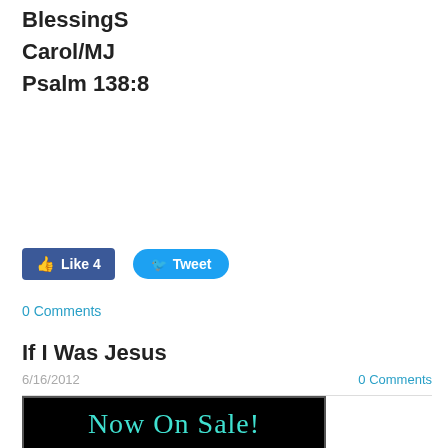BlessingS
Carol/MJ
Psalm 138:8
[Figure (other): Facebook Like button (blue, count 4) and Twitter Tweet button (blue rounded)]
0 Comments
If I Was Jesus
6/16/2012
0 Comments
[Figure (photo): Black background image with 'Now On Sale!' text in teal cursive font]